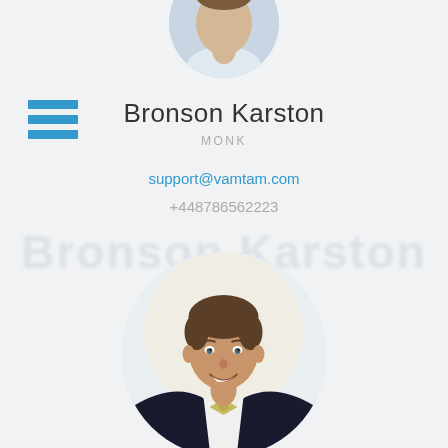[Figure (photo): Circular profile photo partially visible at top of page]
Bronson Karston
MONK
support@vamtam.com
+448786562223
[Figure (photo): Large circular profile photo of a smiling man in a tuxedo with bow tie]